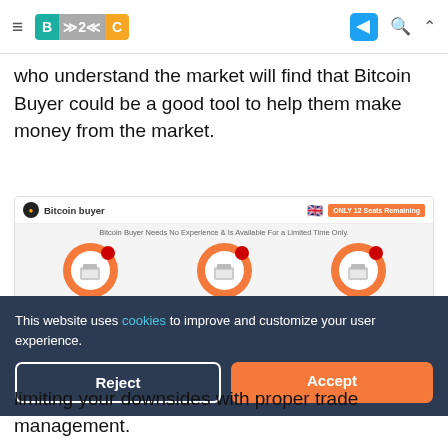≡  B2C  [telegram] [search] [^]
who understand the market will find that Bitcoin Buyer could be a good tool to help them make money from the market.
[Figure (screenshot): Bitcoin Buyer promotional screenshot showing logo, UK flag, 'ONLY 12 Seats Remaining' orange badge, subtitle 'Bitcoin Buyer Needs No Experience & Is Available For a Limited Time Only', and three circular icons: Trusted & Secure, Market Freedom, Risk Free with partial descriptions below each.]
This website uses cookies to improve and customize your user experience.
Reject  Accept
limiting your downsides with proper trade management.